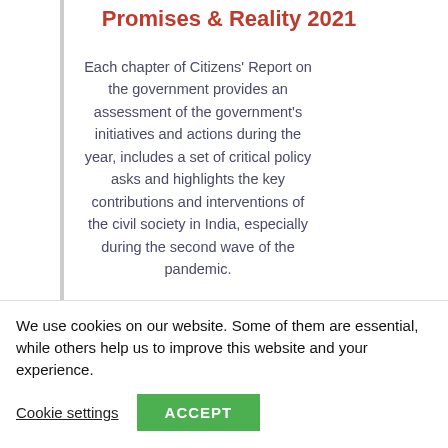Promises & Reality 2021
Each chapter of Citizens' Report on the government provides an assessment of the government's initiatives and actions during the year, includes a set of critical policy asks and highlights the key contributions and interventions of the civil society in India, especially during the second wave of the pandemic.
[Figure (photo): Partial view of a person's face, brownish/warm toned photograph cropped at top]
We use cookies on our website. Some of them are essential, while others help us to improve this website and your experience.
Cookie settings   ACCEPT